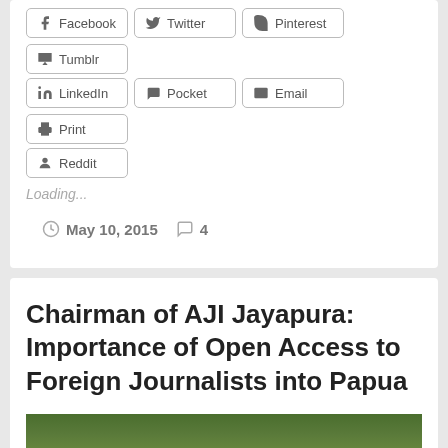Facebook
Twitter
Pinterest
Tumblr
LinkedIn
Pocket
Email
Print
Reddit
Loading...
May 10, 2015   4
Chairman of AJI Jayapura: Importance of Open Access to Foreign Journalists into Papua
[Figure (photo): Photo of a person outdoors with green foliage in the background]